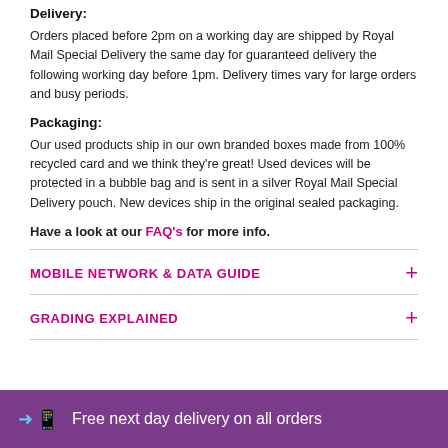Delivery:
Orders placed before 2pm on a working day are shipped by Royal Mail Special Delivery the same day for guaranteed delivery the following working day before 1pm. Delivery times vary for large orders and busy periods.
Packaging:
Our used products ship in our own branded boxes made from 100% recycled card and we think they're great! Used devices will be protected in a bubble bag and is sent in a silver Royal Mail Special Delivery pouch. New devices ship in the original sealed packaging.
Have a look at our FAQ's for more info.
MOBILE NETWORK & DATA GUIDE
GRADING EXPLAINED
Free next day delivery on all orders